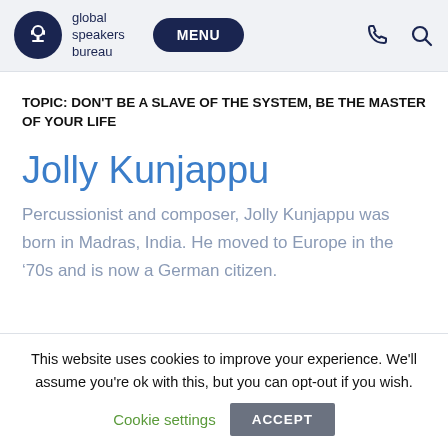global speakers bureau  MENU
TOPIC: DON'T BE A SLAVE OF THE SYSTEM, BE THE MASTER OF YOUR LIFE
Jolly Kunjappu
Percussionist and composer, Jolly Kunjappu was born in Madras, India. He moved to Europe in the ‘70s and is now a German citizen.
This website uses cookies to improve your experience. We'll assume you're ok with this, but you can opt-out if you wish.
Cookie settings   ACCEPT